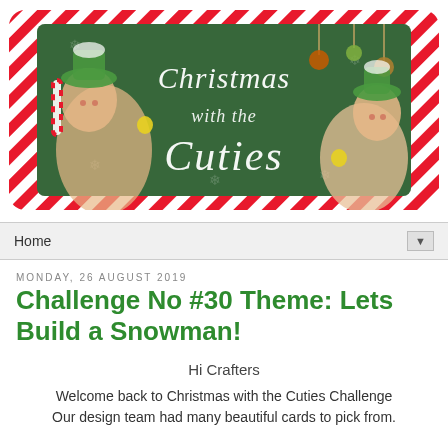[Figure (illustration): Christmas with the Cuties blog banner with candy-cane striped border, green chalkboard background, white cursive text reading 'Christmas with the Cuties', and two elf characters on either side with Christmas ornaments.]
Home ▼
Monday, 26 August 2019
Challenge No #30 Theme: Lets Build a Snowman!
Hi Crafters
Welcome back to Christmas with the Cuties Challenge Our design team had many beautiful cards to pick from.